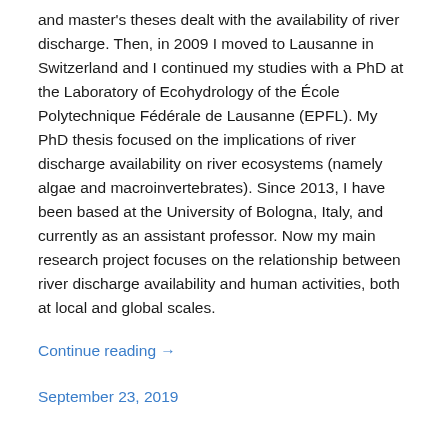and master's theses dealt with the availability of river discharge. Then, in 2009 I moved to Lausanne in Switzerland and I continued my studies with a PhD at the Laboratory of Ecohydrology of the École Polytechnique Fédérale de Lausanne (EPFL). My PhD thesis focused on the implications of river discharge availability on river ecosystems (namely algae and macroinvertebrates). Since 2013, I have been based at the University of Bologna, Italy, and currently as an assistant professor. Now my main research project focuses on the relationship between river discharge availability and human activities, both at local and global scales.
Continue reading →
September 23, 2019